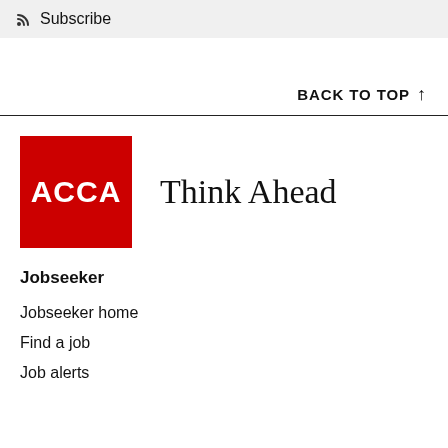Subscribe
BACK TO TOP ↑
[Figure (logo): ACCA Think Ahead logo — red square with white ACCA text and 'Think Ahead' in serif font to the right]
Jobseeker
Jobseeker home
Find a job
Job alerts